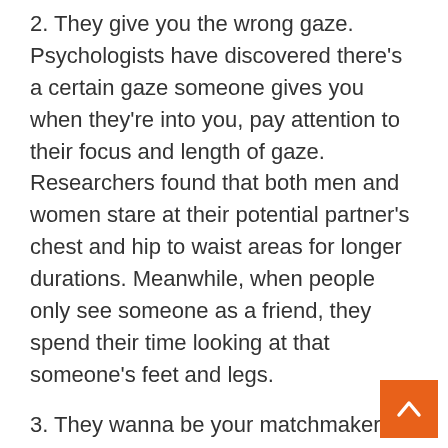2. They give you the wrong gaze. Psychologists have discovered there's a certain gaze someone gives you when they're into you, pay attention to their focus and length of gaze. Researchers found that both men and women stare at their potential partner's chest and hip to waist areas for longer durations. Meanwhile, when people only see someone as a friend, they spend their time looking at that someone's feet and legs.
3. They wanna be your matchmaker. Do they often try to set you up on blind dates, or nudge you to talk to someone nearby? They know you're single but have no intention of dating you. So, as a good friend, they'll try to help you in that department.
It might annoy or irritate you, but consider it a sign move on. 4. They go to you with their relationship problems. If you're playing the role of a therapist, they